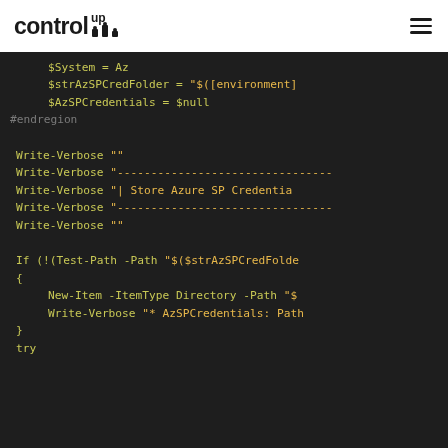control up [logo]
[Figure (screenshot): Dark-themed code editor screenshot showing PowerShell code. Lines include: $strAzSPCredFolder = "$([environment], $AzSPCredentials = $null, #endregion, Write-Verbose "", Write-Verbose "---...", Write-Verbose "| Store Azure SP Credentia...", Write-Verbose "---...", Write-Verbose "", If (!(Test-Path -Path "$($strAzSPCredFolde...", {, New-Item -ItemType Directory -Path "$(...", Write-Verbose "* AzSPCredentials: Path..., }, try]